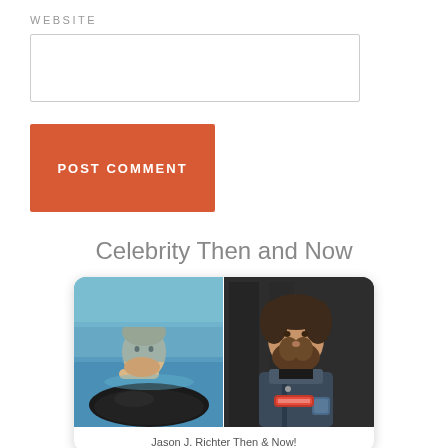WEBSITE
[Figure (screenshot): Empty website text input field with border]
[Figure (screenshot): Orange POST COMMENT button]
Celebrity Then and Now
[Figure (photo): Side-by-side then and now photos of Jason J. Richter: left shows young boy (child actor) with a dolphin/orca, right shows adult man with beard at a media event]
Jason J. Richter Then & Now!